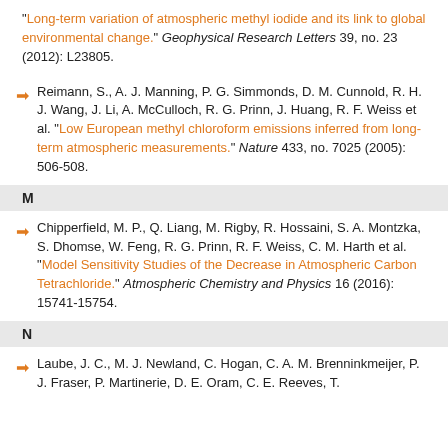"Long-term variation of atmospheric methyl iodide and its link to global environmental change." Geophysical Research Letters 39, no. 23 (2012): L23805.
Reimann, S., A. J. Manning, P. G. Simmonds, D. M. Cunnold, R. H. J. Wang, J. Li, A. McCulloch, R. G. Prinn, J. Huang, R. F. Weiss et al. "Low European methyl chloroform emissions inferred from long-term atmospheric measurements." Nature 433, no. 7025 (2005): 506-508.
M
Chipperfield, M. P., Q. Liang, M. Rigby, R. Hossaini, S. A. Montzka, S. Dhomse, W. Feng, R. G. Prinn, R. F. Weiss, C. M. Harth et al. "Model Sensitivity Studies of the Decrease in Atmospheric Carbon Tetrachloride." Atmospheric Chemistry and Physics 16 (2016): 15741-15754.
N
Laube, J. C., M. J. Newland, C. Hogan, C. A. M. Brenninkmeijer, P. J. Fraser, P. Martinerie, D. E. Oram, C. E. Reeves, T.